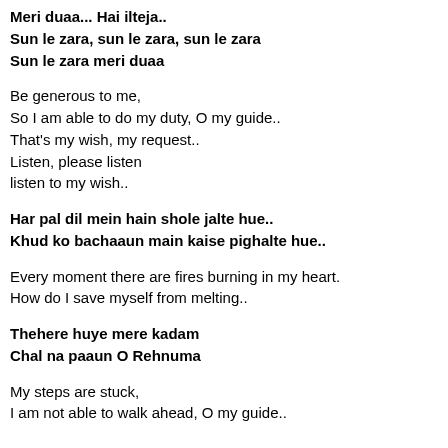Meri duaa... Hai ilteja..
Sun le zara, sun le zara, sun le zara
Sun le zara meri duaa
Be generous to me,
So I am able to do my duty, O my guide..
That's my wish, my request..
Listen, please listen
listen to my wish..
Har pal dil mein hain shole jalte hue..
Khud ko bachaaun main kaise pighalte hue..
Every moment there are fires burning in my heart.
How do I save myself from melting..
Thehere huye mere kadam
Chal na paaun O Rehnuma
My steps are stuck,
I am not able to walk ahead, O my guide..